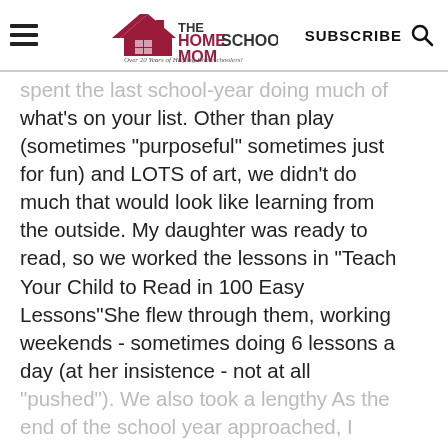THE HOMESCHOOL MOM — Over 20 Years of Helping Homeschoolers! | SUBSCRIBE
(partially visible) spent the last school-year doing much of what's on your list. Other than play (sometimes "purposeful" sometimes just for fun) and LOTS of art, we didn't do much that would look like learning from the outside. My daughter was ready to read, so we worked the lessons in "Teach Your Child to Read in 100 Easy Lessons"She flew through them, working weekends - sometimes doing 6 lessons a day (at her insistence - not at all "pushed"). We also took a lengthy As the end of the school year approached, I (partially cut off)